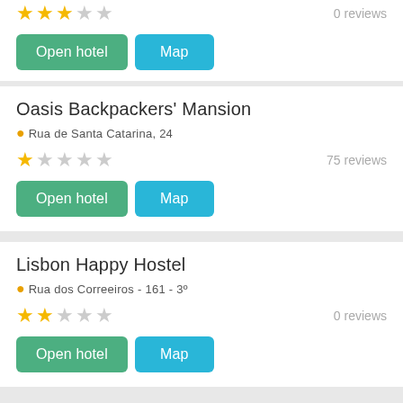★★★☆☆  0 reviews
Open hotel  Map
Oasis Backpackers' Mansion
Rua de Santa Catarina, 24
★☆☆☆☆  75 reviews
Open hotel  Map
Lisbon Happy Hostel
Rua dos Correeiros - 161 - 3º
★★☆☆☆  0 reviews
Open hotel  Map